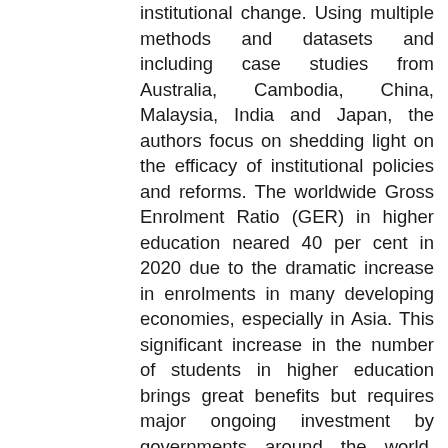institutional change. Using multiple methods and datasets and including case studies from Australia, Cambodia, China, Malaysia, India and Japan, the authors focus on shedding light on the efficacy of institutional policies and reforms. The worldwide Gross Enrolment Ratio (GER) in higher education neared 40 per cent in 2020 due to the dramatic increase in enrolments in many developing economies, especially in Asia. This significant increase in the number of students in higher education brings great benefits but requires major ongoing investment by governments around the world. This growth has followed waves of internationalization and marketization, and universities are undergoing substantial change in their organization and character. The goal of many institutional policies and reforms has been better performance and higher